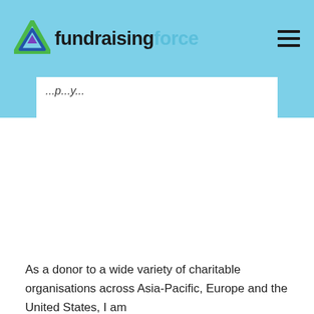fundraisingforce
As a donor to a wide variety of charitable organisations across Asia-Pacific, Europe and the United States, I am